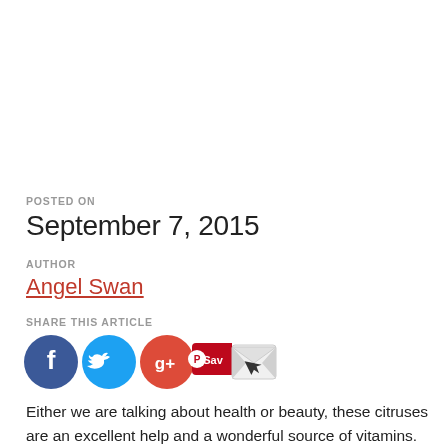POSTED ON
September 7, 2015
AUTHOR
Angel Swan
SHARE THIS ARTICLE
[Figure (infographic): Social share icons: Facebook (blue circle with f), Twitter (cyan circle with bird), Google+ (red circle with g+), Pinterest Save (red badge), Email (envelope icon)]
Either we are talking about health or beauty, these citruses are an excellent help and a wonderful source of vitamins. For hundreds of years, lemons are used for countless benefits they have. Be it health or beauty, lemons are a reliable and helpful source of vitamins. In lemons are found vitamins such